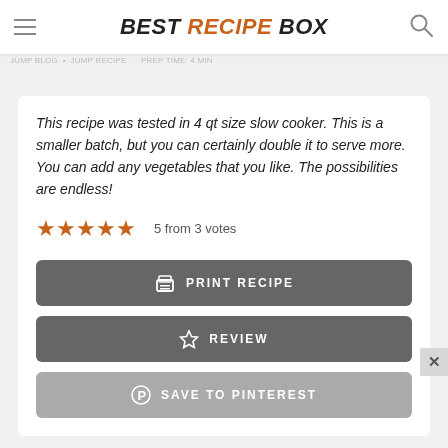BEST RECIPE BOX
This recipe was tested in 4 qt size slow cooker. This is a smaller batch, but you can certainly double it to serve more. You can add any vegetables that you like. The possibilities are endless!
5 from 3 votes
PRINT RECIPE
REVIEW
SAVE TO PINTEREST